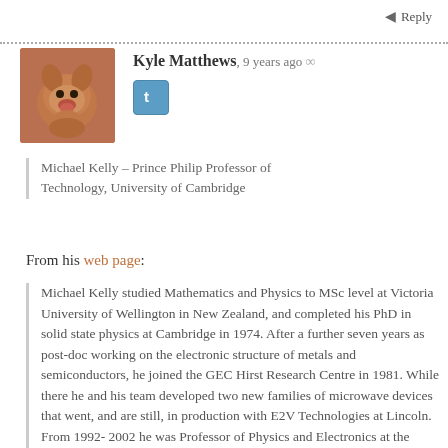Reply
Kyle Matthews, 9 years ago
[Figure (photo): Avatar photo of a dog (brown/tan colored)]
[Figure (logo): Twitter icon button (blue square with bird/t logo)]
Michael Kelly – Prince Philip Professor of Technology, University of Cambridge
From his web page:
Michael Kelly studied Mathematics and Physics to MSc level at Victoria University of Wellington in New Zealand, and completed his PhD in solid state physics at Cambridge in 1974. After a further seven years as post-doc working on the electronic structure of metals and semiconductors, he joined the GEC Hirst Research Centre in 1981. While there he and his team developed two new families of microwave devices that went, and are still, in production with E2V Technologies at Lincoln. From 1992-2002 he was Professor of Physics and Electronics at the University of Surrey, including a term as Head of the School of Electronics and Physical